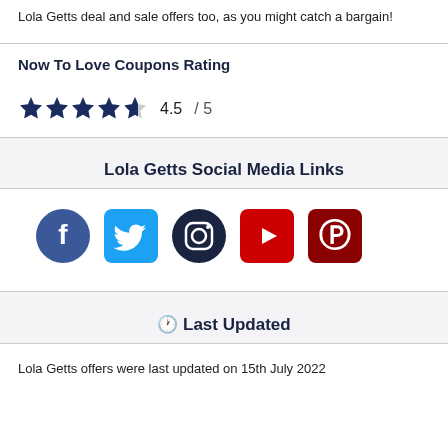Lola Getts deal and sale offers too, as you might catch a bargain!
Now To Love Coupons Rating
[Figure (other): 4.5 out of 5 stars rating with 4 filled stars and 1 half star, showing 4.5 / 5]
Lola Getts Social Media Links
[Figure (infographic): Social media icons: Facebook (blue circle), Twitter (light blue square), Instagram (dark circle), YouTube (red square), Pinterest (dark red square)]
🕐 Last Updated
Lola Getts offers were last updated on 15th July 2022